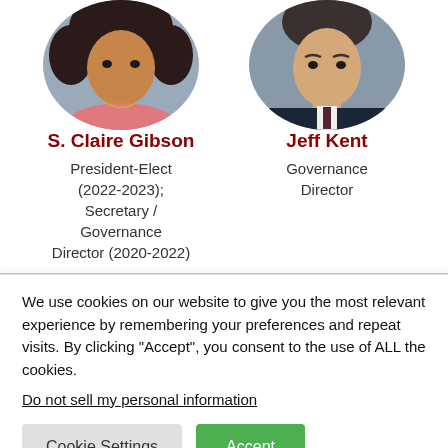[Figure (photo): Circular cropped headshot of S. Claire Gibson, a woman with curly hair wearing a pink top]
S. Claire Gibson
President-Elect (2022-2023); Secretary / Governance Director (2020-2022)
[Figure (photo): Circular cropped headshot of Jeff Kent, a man wearing a suit and tie]
Jeff Kent
Governance Director
We use cookies on our website to give you the most relevant experience by remembering your preferences and repeat visits. By clicking “Accept”, you consent to the use of ALL the cookies.
Do not sell my personal information.